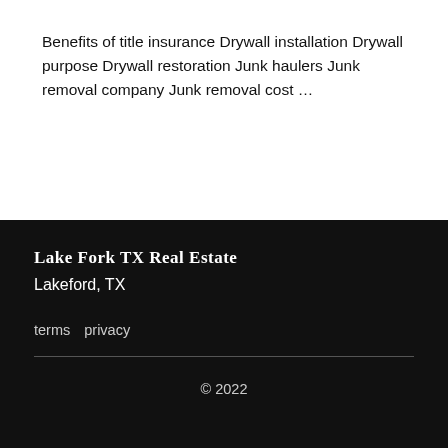Benefits of title insurance Drywall installation Drywall purpose Drywall restoration Junk haulers Junk removal company Junk removal cost …
Lake Fork TX Real Estate
Lakeford, TX
terms  privacy
© 2022